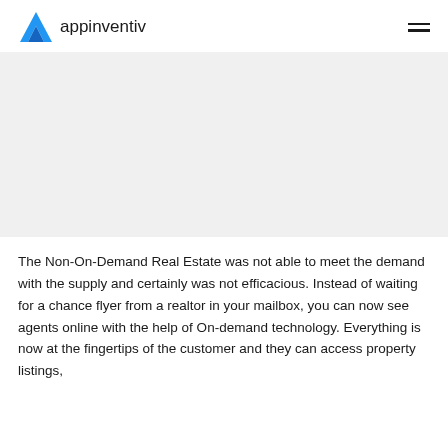appinventiv
[Figure (other): Large light gray rectangular image placeholder area]
The Non-On-Demand Real Estate was not able to meet the demand with the supply and certainly was not efficacious. Instead of waiting for a chance flyer from a realtor in your mailbox, you can now see agents online with the help of On-demand technology. Everything is now at the fingertips of the customer and they can access property listings,